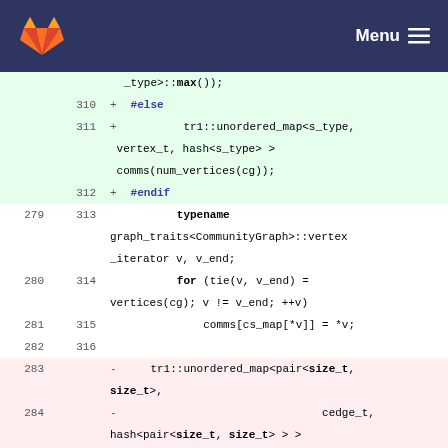[Figure (screenshot): GitLab navigation header bar with orange fox logo on left and Menu button with hamburger icon on right, dark navy background]
Code diff view showing lines 279-317 with added (green) and removed (red) lines of C++ source code involving tr1::unordered_map, graph_traits, vertex_iterator, and HAVE_SPARSEHASH preprocessor directives